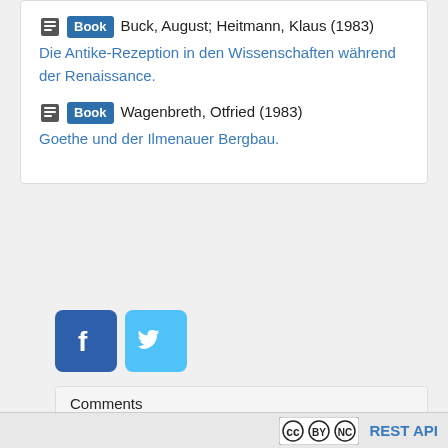Book Buck, August; Heitmann, Klaus (1983) Die Antike-Rezeption in den Wissenschaften während der Renaissance.
Book Wagenbreth, Otfried (1983) Goethe und der Ilmenauer Bergbau.
[Figure (logo): Facebook and Twitter social share buttons]
Comments
Be the first to comment!
CC BY NC  REST API